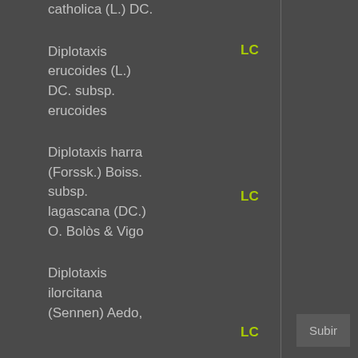catholica (L.) DC.
| Species | Status |
| --- | --- |
| Diplotaxis erucoides (L.) DC. subsp. erucoides | LC |
| Diplotaxis harra (Forssk.) Boiss. subsp. lagascana (DC.) O. Bolòs & Vigo | LC |
| Diplotaxis ilorcitana (Sennen) Aedo, | LC |